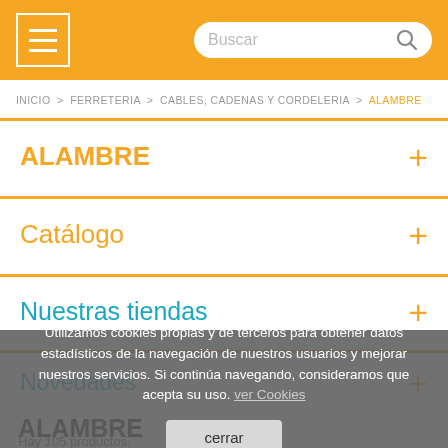Navigation bar with hamburger menu and search box
INICIO > FERRETERIA > CABLES, CADENAS Y CORDELERIA > ALAMBRE
ALAMBRE
Catálogo
Nuestras tiendas
Novedades
ALAMBRE
Hay 105 productos.
Utilizamos cookies propias y de terceros para obtener datos estadísticos de la navegación de nuestros usuarios y mejorar nuestros servicios. Si continúa navegando, consideramos que acepta su uso. ver Cookies